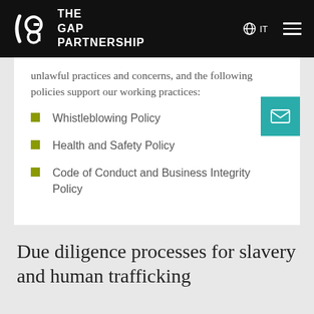THE GAP PARTNERSHIP
unlawful practices and concerns, and the following policies support our working practices:
Whistleblowing Policy
Health and Safety Policy
Code of Conduct and Business Integrity Policy
Due diligence processes for slavery and human trafficking